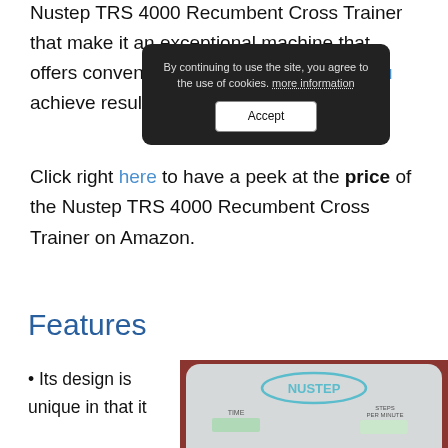Nustep TRS 4000 Recumbent Cross Trainer that make it an exceptional machine that offers convenience, portability, even as you achieve results.
[Figure (screenshot): Cookie consent popup overlay with dark background reading: 'By continuing to use the site, you agree to the use of cookies. more information' and an Accept button.]
Click right here to have a peek at the price of the Nustep TRS 4000 Recumbent Cross Trainer on Amazon.
Features
Its design is unique in that it
[Figure (photo): Close-up photo of a NuStep exercise machine monitor/display panel showing labels: TIME, STEPS PER MINUTE, HEART RATE, METS, WATTS, WORKLOAD 1-10, with green display windows.]